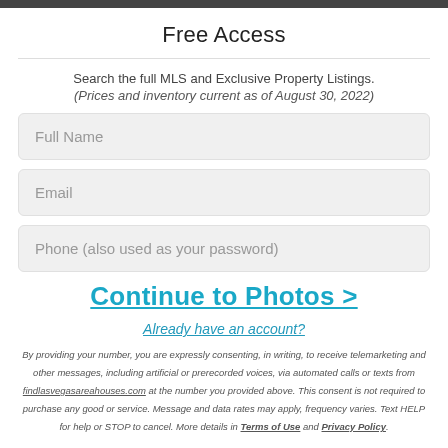Free Access
Search the full MLS and Exclusive Property Listings.
(Prices and inventory current as of August 30, 2022)
Full Name
Email
Phone (also used as your password)
Continue to Photos >
Already have an account?
By providing your number, you are expressly consenting, in writing, to receive telemarketing and other messages, including artificial or prerecorded voices, via automated calls or texts from findlasvegasareahouses.com at the number you provided above. This consent is not required to purchase any good or service. Message and data rates may apply, frequency varies. Text HELP for help or STOP to cancel. More details in Terms of Use and Privacy Policy.